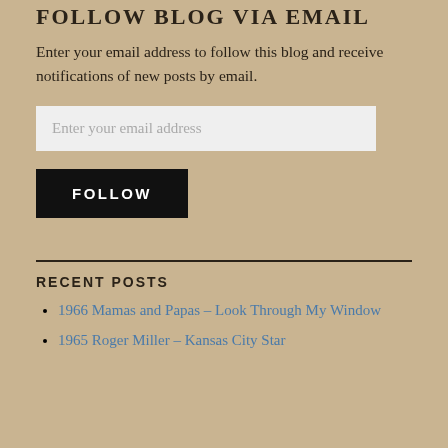FOLLOW BLOG VIA EMAIL
Enter your email address to follow this blog and receive notifications of new posts by email.
[Figure (other): Email input field with placeholder text 'Enter your email address']
[Figure (other): FOLLOW button, black background with white uppercase text]
RECENT POSTS
1966 Mamas and Papas – Look Through My Window
1965 Roger Miller – Kansas City Star